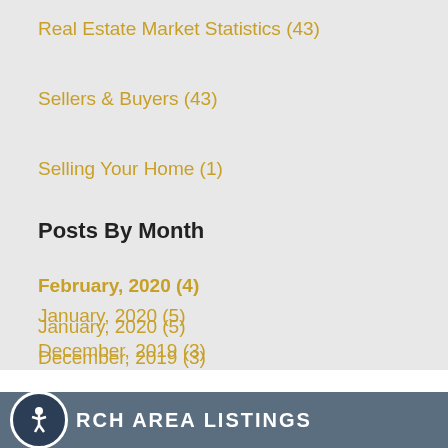Real Estate Market Statistics (43)
Sellers & Buyers (43)
Selling Your Home (1)
Posts By Month
February, 2020 (4)
January, 2020 (5)
December, 2019 (3)
View More
Grab Our RSS Feed
RCH AREA LISTINGS